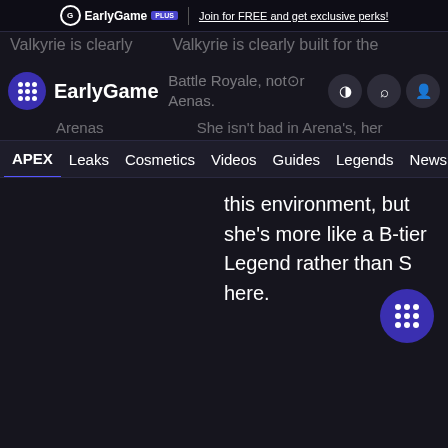EarlyGame PLUS | Join for FREE and get exclusive perks!
EarlyGame
Battle Royale, not for Arenas. She isn't bad in Arena's, her this environment, but she's more like a B-tier Legend rather than S here.
APEX Leaks Cosmetics Videos Guides Legends News